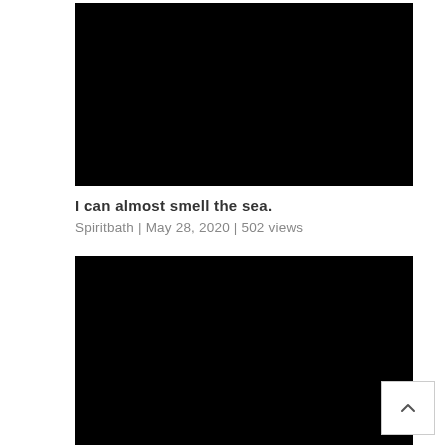[Figure (photo): Black rectangular image placeholder at the top of the page]
I can almost smell the sea.
Spiritbath | May 28, 2020 | 502 views
[Figure (photo): Black rectangular image placeholder at the bottom of the page, with a small square button with an upward chevron arrow in the lower right area]